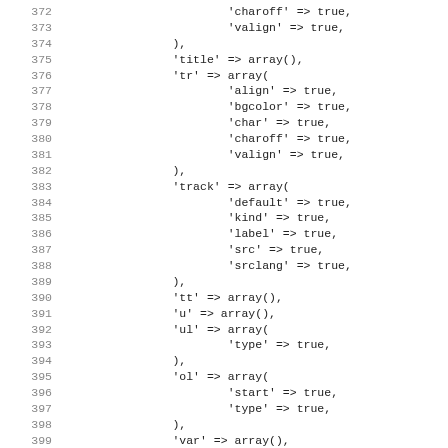Code listing lines 372-403 showing PHP array configuration for HTML element attributes